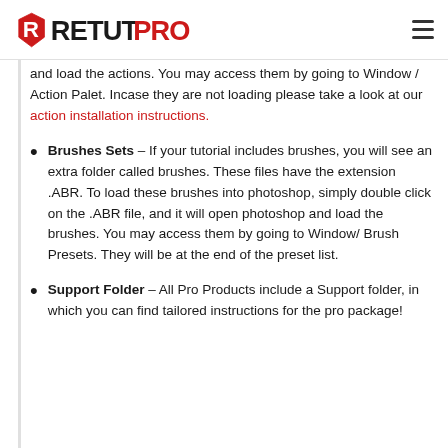RETUTPRO
and load the actions. You may access them by going to Window / Action Palet. Incase they are not loading please take a look at our action installation instructions.
Brushes Sets – If your tutorial includes brushes, you will see an extra folder called brushes. These files have the extension .ABR. To load these brushes into photoshop, simply double click on the .ABR file, and it will open photoshop and load the brushes. You may access them by going to Window/ Brush Presets. They will be at the end of the preset list.
Support Folder – All Pro Products include a Support folder, in which you can find tailored instructions for the pro package!